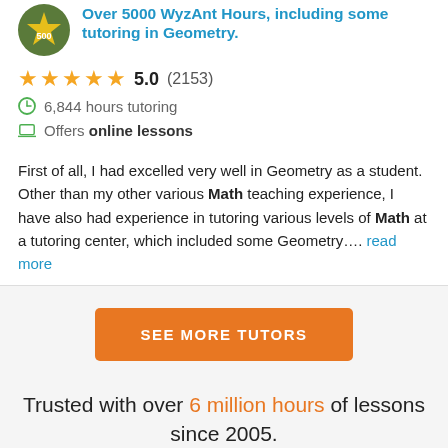Over 5000 WyzAnt Hours, including some tutoring in Geometry.
5.0 (2153)
6,844 hours tutoring
Offers online lessons
First of all, I had excelled very well in Geometry as a student. Other than my other various Math teaching experience, I have also had experience in tutoring various levels of Math at a tutoring center, which included some Geometry.... read more
SEE MORE TUTORS
Trusted with over 6 million hours of lessons since 2005.